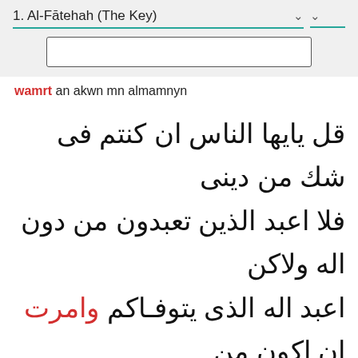1. Al-Fātehah (The Key)
[Figure (screenshot): Search input box]
wamrt an akwn mn almamnyn
قل يايها الناس ان كنتم فى شك من دينى فلا اعبد الذين تعبدون من دون اله ولاكن اعبد اله الذى يتوفـاكم وامرت ان اكون من المؤمنين
40   11:87
Said they: "O Shu'ayb! Does thy [habit of] praying compel thee to demand of us* that we give up all that